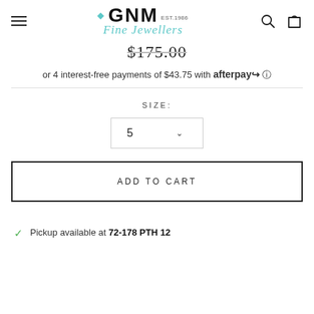[Figure (logo): GNM Fine Jewellers logo with diamond icon, EST 1986, teal script]
$175.00
or 4 interest-free payments of $43.75 with afterpay ℹ
SIZE:
5
ADD TO CART
Pickup available at 72-178 PTH 12